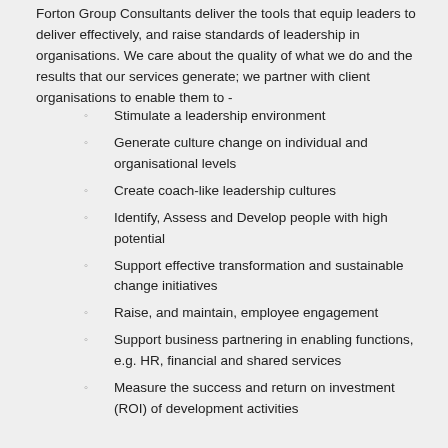Forton Group Consultants deliver the tools that equip leaders to deliver effectively, and raise standards of leadership in organisations. We care about the quality of what we do and the results that our services generate; we partner with client organisations to enable them to -
Stimulate a leadership environment
Generate culture change on individual and organisational levels
Create coach-like leadership cultures
Identify, Assess and Develop people with high potential
Support effective transformation and sustainable change initiatives
Raise, and maintain, employee engagement
Support business partnering in enabling functions, e.g. HR, financial and shared services
Measure the success and return on investment (ROI) of development activities